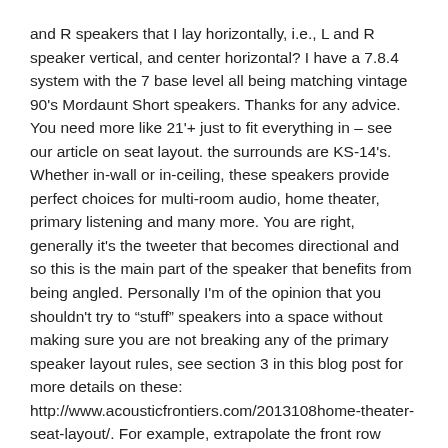and R speakers that I lay horizontally, i.e., L and R speaker vertical, and center horizontal? I have a 7.8.4 system with the 7 base level all being matching vintage 90's Mordaunt Short speakers. Thanks for any advice. You need more like 21'+ just to fit everything in – see our article on seat layout. the surrounds are KS-14's. Whether in-wall or in-ceiling, these speakers provide perfect choices for multi-room audio, home theater, primary listening and many more. You are right, generally it's the tweeter that becomes directional and so this is the main part of the speaker that benefits from being angled. Personally I'm of the opinion that you shouldn't try to “stuff” speakers into a space without making sure you are not breaking any of the primary speaker layout rules, see section 3 in this blog post for more details on these: http://www.acousticfrontiers.com/2013108home-theater-seat-layout/. For example, extrapolate the front row angle to the ceiling speakers to an imposed slope above your example drawing? The seating is 15' from an 85" Samsung tv. The ceiling